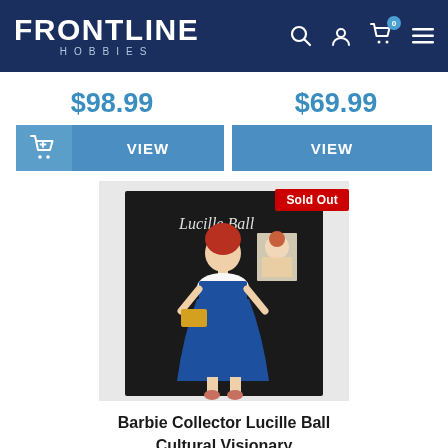FRONTLINE HOBBIES
$98.99
$69.99
VIEW
VIEW
[Figure (photo): Barbie Collector Lucille Ball Cultural Visionary doll in blue dress, in black display box packaging with 'Sold Out' badge]
Barbie Collector Lucille Ball Cultural Visionary